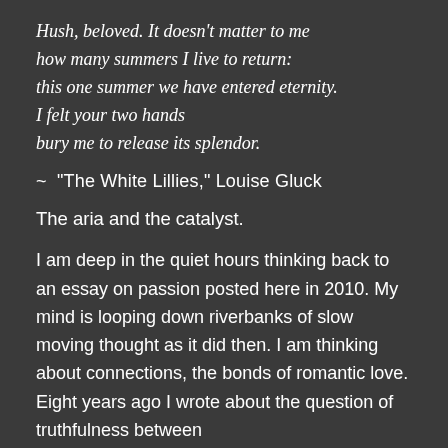Hush, beloved. It doesn't matter to me how many summers I live to return: this one summer we have entered eternity. I felt your two hands bury me to release its splendor.
~ "The White Lillies," Louise Gluck
The aria and the catalyst.
I am deep in the quiet hours thinking back to an essay on passion posted here in 2010. My mind is looping down riverbanks of slow moving thought as it did then. I am thinking about connections, the bonds of romantic love. Eight years ago I wrote about the question of truthfulness between